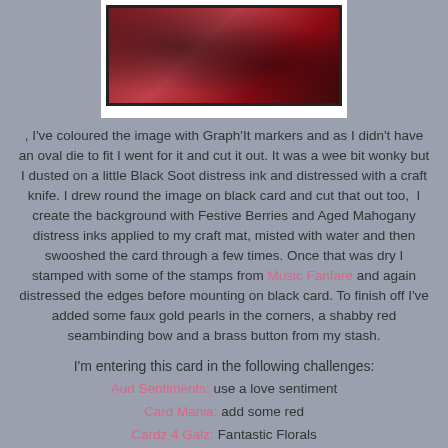[Figure (photo): A crafted card with red/dark floral design on black background, shown with white photo-mount border]
, I've coloured the image with Graph'It markers and as I didn't have an oval die to fit I went for it and cut it out. It was a wee bit wonky but I dusted on a little Black Soot distress ink and distressed with a craft knife. I drew round the image on black card and cut that out too,  I create the background with Festive Berries and Aged Mahogany distress inks applied to my craft mat, misted with water and then swooshed the card through a few times. Once that was dry I stamped with some of the stamps from Music Fanfare and again distressed the edges before mounting on black card. To finish off I've added some faux gold pearls in the corners, a shabby red seambinding bow and a brass button from my stash.
I'm entering this card in the following challenges:
Aud Sentiments: use a love sentiment
Card Mania: add some red
Cardz 4 Galz: Fantastic Florals
Craft Rocket: (partial, cut off)